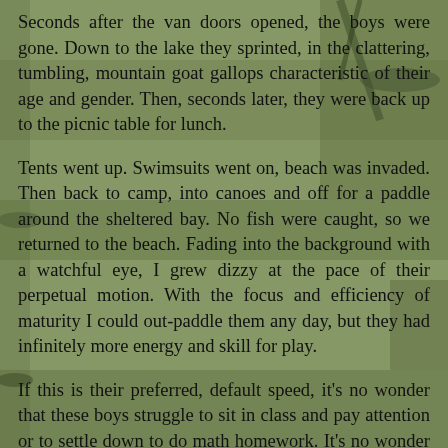[Figure (photo): Background photograph of a natural outdoor scene, likely tree bark or branches with a greenish-brown muted tone, partially visible behind text.]
Seconds after the van doors opened, the boys were gone. Down to the lake they sprinted, in the clattering, tumbling, mountain goat gallops characteristic of their age and gender. Then, seconds later, they were back up to the picnic table for lunch.
Tents went up. Swimsuits went on, beach was invaded. Then back to camp, into canoes and off for a paddle around the sheltered bay. No fish were caught, so we returned to the beach. Fading into the background with a watchful eye, I grew dizzy at the pace of their perpetual motion. With the focus and efficiency of maturity I could out-paddle them any day, but they had infinitely more energy and skill for play.
If this is their preferred, default speed, it's no wonder that these boys struggle to sit in class and pay attention or to settle down to do math homework. It's no wonder that shorter and fewer recesses are impacting students' ability to focus. I always hope that the boys learn something from me on these trips—how to pack a Duluth pack, steer a canoe, set up your tent to keep the rain out, keep a clean camp, tie a trucker's hitch, or identify poison ivy. But really, even if all